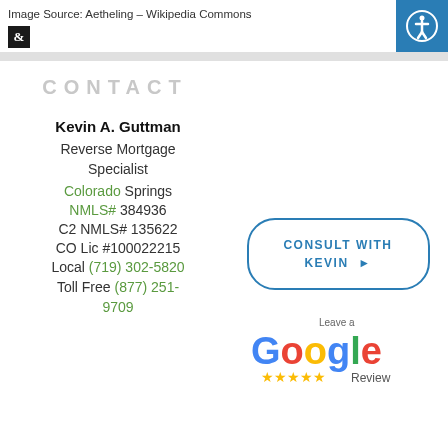Image Source: Aetheling – Wikipedia Commons
CONTACT
Kevin A. Guttman
Reverse Mortgage Specialist
Colorado Springs
NMLS# 384936
C2 NMLS# 135622
CO Lic #100022215
Local (719) 302-5820
Toll Free (877) 251-9709
CONSULT WITH KEVIN
[Figure (logo): Leave a Google Review logo with 5 gold stars and 'Review' text]